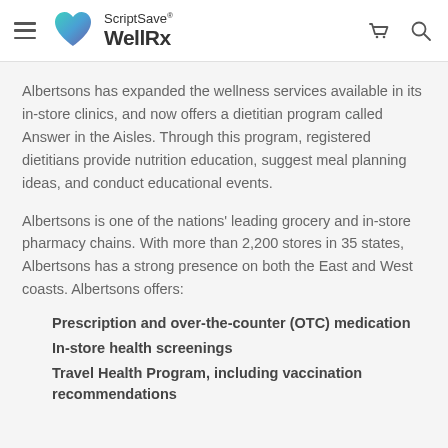ScriptSave® WellRx
Albertsons has expanded the wellness services available in its in-store clinics, and now offers a dietitian program called Answer in the Aisles. Through this program, registered dietitians provide nutrition education, suggest meal planning ideas, and conduct educational events.
Albertsons is one of the nations' leading grocery and in-store pharmacy chains. With more than 2,200 stores in 35 states, Albertsons has a strong presence on both the East and West coasts. Albertsons offers:
Prescription and over-the-counter (OTC) medication
In-store health screenings
Travel Health Program, including vaccination recommendations